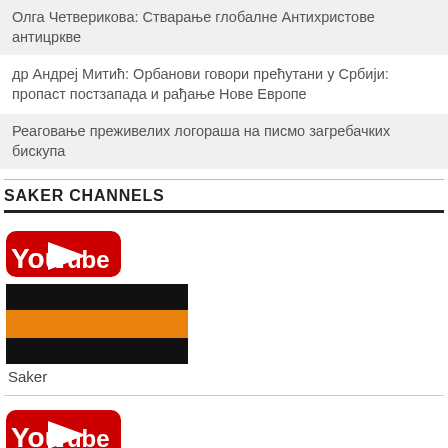Олга Четверикова: Стварање глобалне Антихристове антицркве
др Андреј Митић: Орбанови говори прећутани у Србији: пропаст постзапада и рађање Нове Европе
Реаговање преживелих логораша на писмо загребачких бискупа
SAKER CHANNELS
[Figure (logo): YouTube logo followed by St. George ribbon (black-orange-black stripes), labeled Saker]
Saker
[Figure (logo): YouTube logo followed by French flag (blue-white-red vertical stripes)]
Fran...